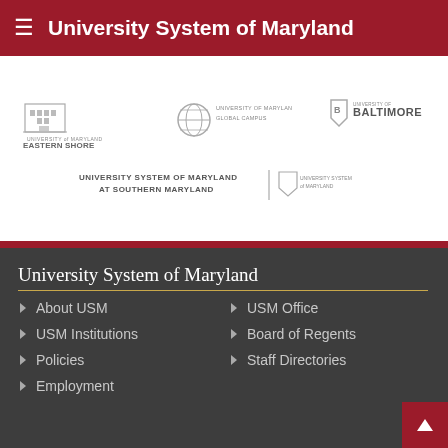University System of Maryland
[Figure (logo): University of Maryland Eastern Shore logo]
[Figure (logo): University of Maryland Global Campus logo]
[Figure (logo): University of Baltimore logo]
[Figure (logo): University System of Maryland at Southern Maryland logo]
University System of Maryland
About USM
USM Office
USM Institutions
Board of Regents
Policies
Staff Directories
Employment